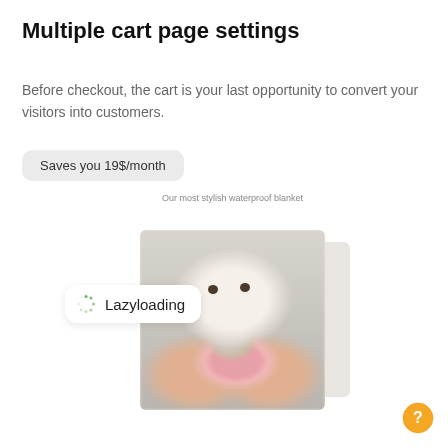Multiple cart page settings
Before checkout, the cart is your last opportunity to convert your visitors into customers.
Saves you 19$/month
[Figure (screenshot): Product page screenshot showing a white dog with a floral accessory in a product card, with a 'Lazyloading' pill tooltip overlay showing a spinner icon]
Our most stylish waterproof blanket